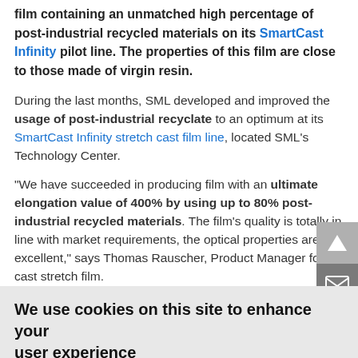film containing an unmatched high percentage of post-industrial recycled materials on its SmartCast Infinity pilot line. The properties of this film are close to those made of virgin resin.
During the last months, SML developed and improved the usage of post-industrial recyclate to an optimum at its SmartCast Infinity stretch cast film line, located SML's Technology Center.
"We have succeeded in producing film with an ultimate elongation value of 400% by using up to 80% post-industrial recycled materials. The film's quality is totally in line with market requirements, the optical properties are excellent," says Thomas Rauscher, Product Manager for cast stretch film.
We use cookies on this site to enhance your user experience